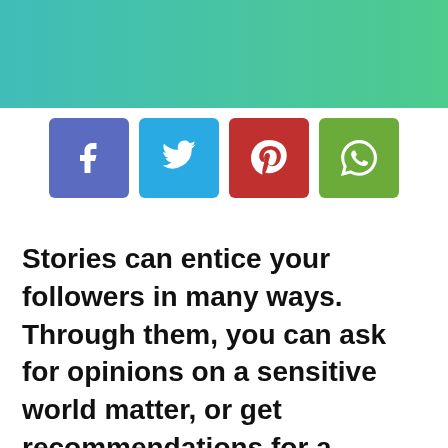[Figure (illustration): Teal to green gradient header banner background]
[Figure (infographic): Four social media share buttons: Facebook (purple-blue), Twitter (light blue), Pinterest (red), WhatsApp (green)]
Stories can entice your followers in many ways. Through them, you can ask for opinions on a sensitive world matter, or get recommendations for a product your business is about to launch. They are also a great way to let your followers know when